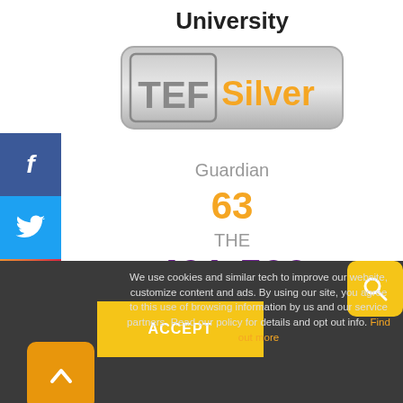University
[Figure (logo): TEF Silver badge/logo]
Guardian
63
THE
401-500
We use cookies and similar tech to improve our website, customize content and ads. By using our site, you agree to this use of browsing information by us and our service partners. Read our policy for details and opt out info. Find out more
ACCEPT